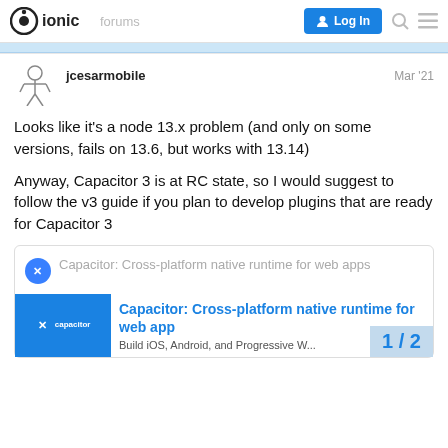ionic forums | Log In
jcesarmobile
Mar '21
Looks like it’s a node 13.x problem (and only on some versions, fails on 13.6, but works with 13.14)
Anyway, Capacitor 3 is at RC state, so I would suggest to follow the v3 guide if you plan to develop plugins that are ready for Capacitor 3
[Figure (screenshot): Link card showing Capacitor: Cross-platform native runtime for web apps, with blue Capacitor logo image on the left and bold blue title text on the right, and description starting with Build iOS, Android, and Progressive W...]
1 / 2